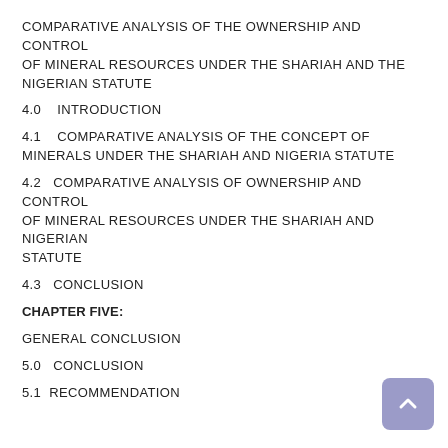COMPARATIVE ANALYSIS OF THE OWNERSHIP AND CONTROL OF MINERAL RESOURCES UNDER THE SHARIAH AND THE NIGERIAN STATUTE
4.0    INTRODUCTION
4.1    COMPARATIVE ANALYSIS OF THE CONCEPT OF MINERALS UNDER THE SHARIAH AND NIGERIA STATUTE
4.2    COMPARATIVE ANALYSIS OF OWNERSHIP AND CONTROL OF MINERAL RESOURCES UNDER THE SHARIAH AND NIGERIAN STATUTE
4.3    CONCLUSION
CHAPTER FIVE:
GENERAL CONCLUSION
5.0    CONCLUSION
5.1    RECOMMENDATION